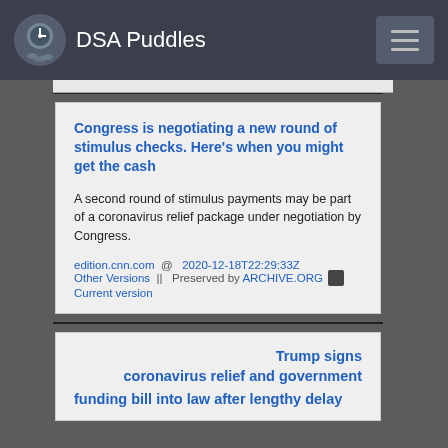DSA Puddles
Congress is negotiating a new round of stimulus checks. Here's when you might get the cash
A second round of stimulus payments may be part of a coronavirus relief package under negotiation by Congress.
edition.cnn.com  @  2020-12-18T22:29:33Z
Other Versions  ||  Preserved by ARCHIVE.ORG
Current version
Trump signs coronavirus relief and government funding bill into law after lengthy delay